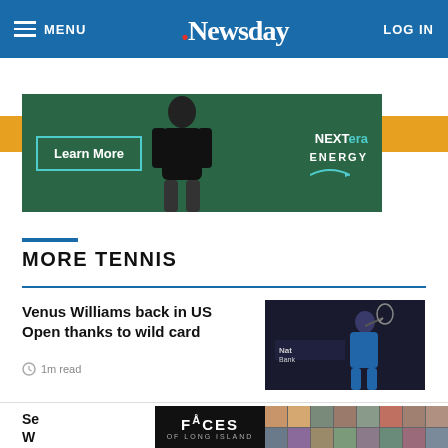MENU | Newsday | LOG IN
SUBSCRIBE $1 FOR 5 MONTHS
[Figure (photo): NextEra Energy advertisement with Learn More button and person figure]
MORE TENNIS
Venus Williams back in US Open thanks to wild card
1m read
[Figure (photo): Photo of Venus Williams playing tennis with National Bank sign in background]
[Figure (photo): Faces of Long Island advertisement with grid of people photos]